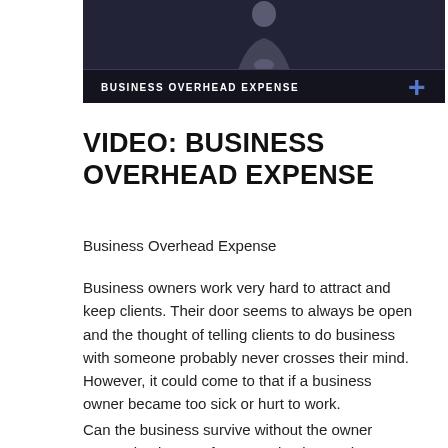[Figure (screenshot): Video thumbnail showing a person in dark clothing against a dark background, with a dark bar at the bottom reading 'BUSINESS OVERHEAD EXPENSE' in white bold letters, and a blue plus icon in the lower right corner.]
VIDEO: BUSINESS OVERHEAD EXPENSE
Business Overhead Expense
Business owners work very hard to attract and keep clients. Their door seems to always be open and the thought of telling clients to do business with someone probably never crosses their mind. However, it could come to that if a business owner became too sick or hurt to work.
Can the business survive without the owner generating income for a month, six months or